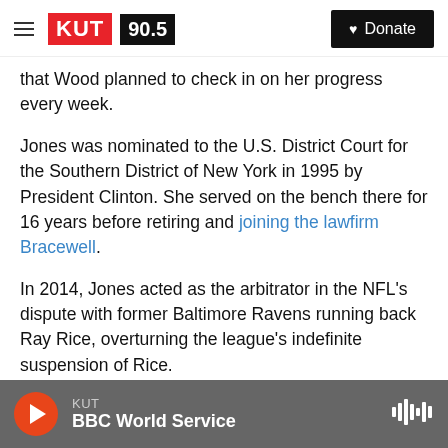KUT 90.5 | Donate
that Wood planned to check in on her progress every week.
Jones was nominated to the U.S. District Court for the Southern District of New York in 1995 by President Clinton. She served on the bench there for 16 years before retiring and joining the lawfirm Bracewell.
In 2014, Jones acted as the arbitrator in the NFL's dispute with former Baltimore Ravens running back Ray Rice, overturning the league's indefinite suspension of Rice.
KUT | BBC World Service